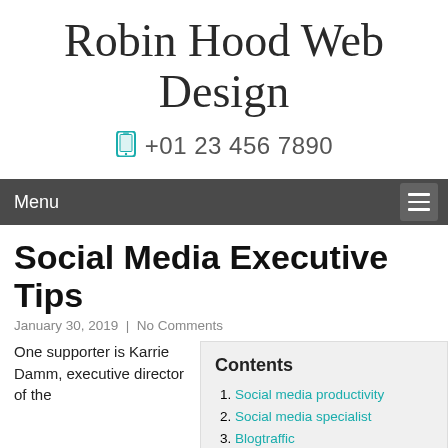Robin Hood Web Design
+01 23 456 7890
Menu
Social Media Executive Tips
January 30, 2019  |  No Comments
One supporter is Karrie Damm, executive director of the
| Contents |
| --- |
| Social media productivity |
| Social media specialist |
| Blogtraffic #socialmediamarketing #socialmediatips |
| Social advertising campaigns |